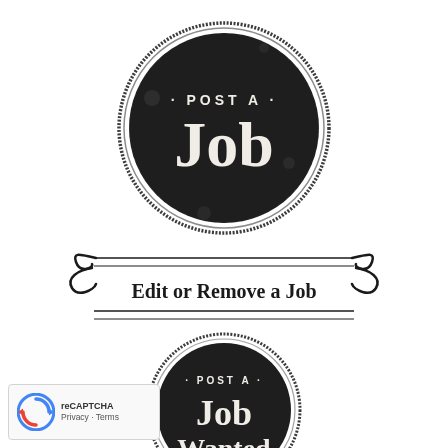[Figure (illustration): Circular black stamp badge with distressed texture. Outer ring outline circle, inner black filled circle. Text '· POST A ·' in small white bold caps, and 'JOB' in large white bold serif text in the center.]
[Figure (illustration): Decorative horizontal divider with scroll/flourish ornaments on left and right, two horizontal lines, and centered text 'Edit or Remove a Job' in bold serif font with small caps styling.]
[Figure (illustration): Circular black stamp badge (smaller, partially visible). Outer ring outline circle, inner dark filled circle. Text '· POST A ·' in small white bold caps, 'JOB' and 'WANTED' in large white bold serif text.]
[Figure (logo): Google reCAPTCHA badge in bottom-left corner. Shows reCAPTCHA spinner/logo icon in blue and red, with 'Privacy · Terms' text below.]